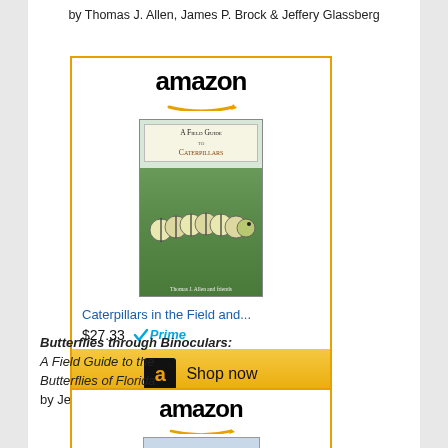by Thomas J. Allen, James P. Brock & Jeffery Glassberg
[Figure (screenshot): Amazon widget for 'Caterpillars in the Field and...' priced at $27.33 with Prime, with Shop now button]
Butterflies through Binoculars: A Field Guide to the Butterflies of Florida by Jeffrey Glassberg
[Figure (screenshot): Amazon widget (partial) showing book cover for Butterflies title]